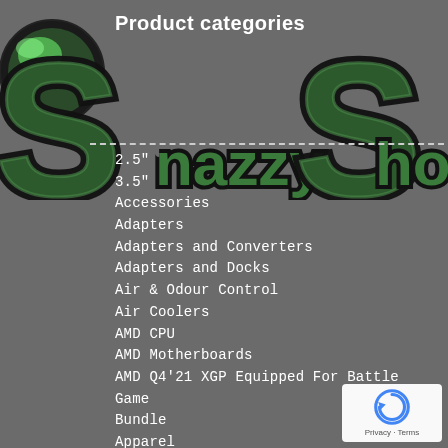[Figure (logo): SnazzyShop logo with large green glowing S letters and green orb on dark grey background]
Product categories
2.5"
3.5"
Accessories
Adapters
Adapters and Converters
Adapters and Docks
Air & Odour Control
Air Coolers
AMD CPU
AMD Motherboards
AMD Q4'21 XGP Equipped For Battle Game Bundle
Apparel
Apple
Apple Memory
Appliances
[Figure (logo): Google reCAPTCHA badge with Privacy and Terms text]